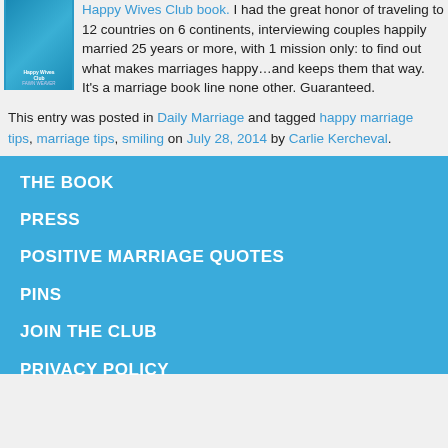Happy Wives Club book. I had the great honor of traveling to 12 countries on 6 continents, interviewing couples happily married 25 years or more, with 1 mission only: to find out what makes marriages happy…and keeps them that way. It's a marriage book line none other. Guaranteed.
This entry was posted in Daily Marriage and tagged happy marriage tips, marriage tips, smiling on July 28, 2014 by Carlie Kercheval.
THE BOOK
PRESS
POSITIVE MARRIAGE QUOTES
PINS
JOIN THE CLUB
PRIVACY POLICY